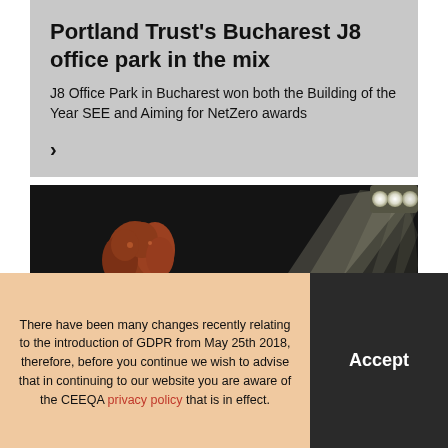Portland Trust’s Bucharest J8 office park in the mix
J8 Office Park in Bucharest won both the Building of the Year SEE and Aiming for NetZero awards
>
[Figure (photo): Woman with curly red hair singing into a microphone on stage with bright stage lights shining behind her]
There have been many changes recently relating to the introduction of GDPR from May 25th 2018, therefore, before you continue we wish to advise that in continuing to our website you are aware of the CEEQA privacy policy that is in effect.
Accept